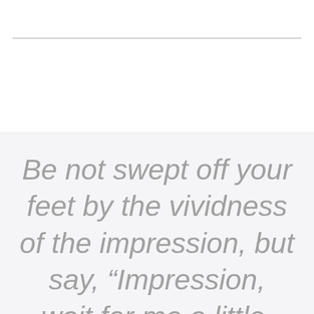Be not swept off your feet by the vividness of the impression, but say, “Impression, wait for me a little. Let me see what